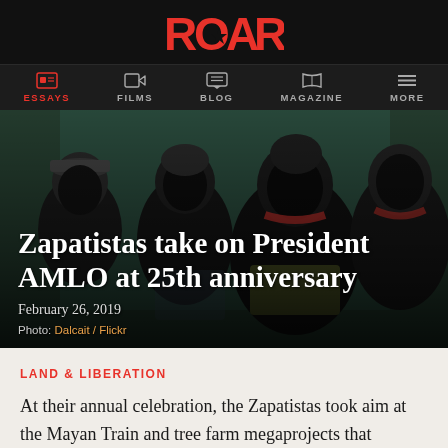ROAR
ESSAYS  FILMS  BLOG  MAGAZINE  MORE
[Figure (photo): Group of masked Zapatista figures wearing black balaclavas and red scarves, photographed against a teal/green background]
Zapatistas take on President AMLO at 25th anniversary
February 26, 2019
Photo: Dalcait / Flickr
LAND & LIBERATION
At their annual celebration, the Zapatistas took aim at the Mayan Train and tree farm megaprojects that trample the rights of Indigenous people.